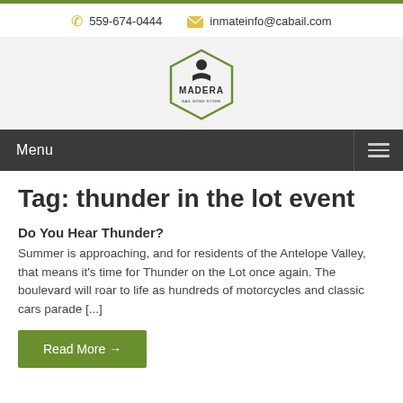559-674-0444  inmateinfo@cabail.com
[Figure (logo): Madera Bail Bond Store hexagon logo]
Menu
Tag: thunder in the lot event
Do You Hear Thunder?
Summer is approaching, and for residents of the Antelope Valley, that means it's time for Thunder on the Lot once again. The boulevard will roar to life as hundreds of motorcycles and classic cars parade [...]
Read More →